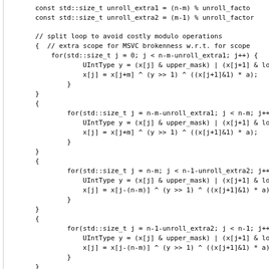Code snippet showing C++ template loop unrolling implementation with for loops, UIntType operations, and template declarations